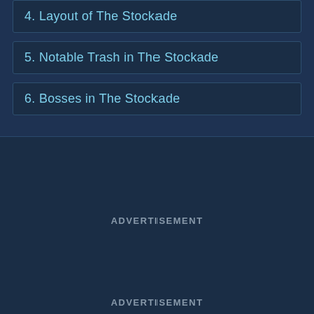4. Layout of The Stockade
5. Notable Trash in The Stockade
6. Bosses in The Stockade
ADVERTISEMENT
ADVERTISEMENT